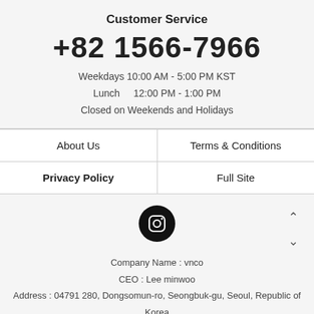Customer Service
+82 1566-7966
Weekdays 10:00 AM - 5:00 PM KST
Lunch    12:00 PM - 1:00 PM
Closed on Weekends and Holidays
| About Us | Terms & Conditions |
| Privacy Policy | Full Site |
[Figure (logo): Instagram icon - circular black button with camera icon]
Company Name : vnco
CEO : Lee minwoo
Address : 04791 280, Dongsomun-ro, Seongbuk-gu, Seoul, Republic of Korea
Cart